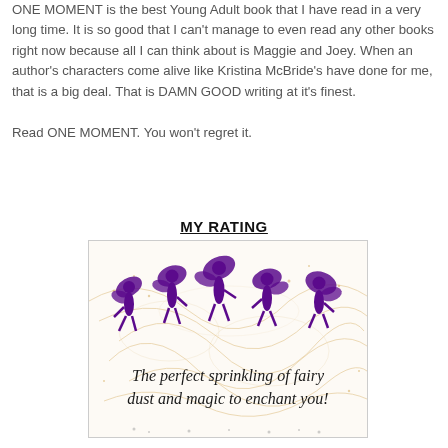ONE MOMENT is the best Young Adult book that I have read in a very long time. It is so good that I can't manage to even read any other books right now because all I can think about is Maggie and Joey. When an author's characters come alive like Kristina McBride's have done for me, that is a big deal. That is DAMN GOOD writing at it's finest.

Read ONE MOMENT. You won't regret it.
MY RATING
[Figure (illustration): Rating image showing five purple fairy silhouettes with swirling golden dust patterns, with cursive text reading: The perfect sprinkling of fairy dust and magic to enchant you!]